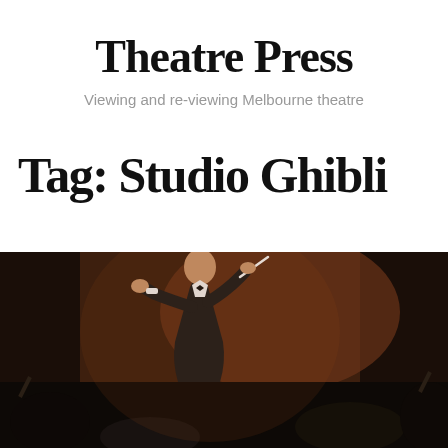Theatre Press
Viewing and re-viewing Melbourne theatre
Tag: Studio Ghibli
[Figure (photo): A male orchestra conductor in formal black tuxedo, holding a baton in one hand and gesturing with the other, photographed against a dark warm-toned background with other musicians visible below and at the edges.]